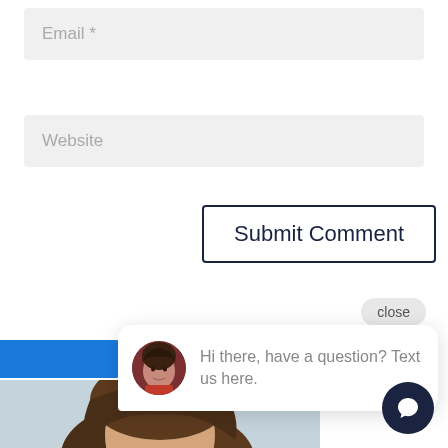[Figure (screenshot): Email form field with placeholder text 'Email *' on gray background]
[Figure (screenshot): Website form field with placeholder text 'Website' on gray background]
[Figure (screenshot): Submit Comment button with dark navy border]
[Figure (screenshot): Chat widget popup with close button, avatar of woman, and message 'Hi there, have a question? Text us here.' with chat icon button at bottom right]